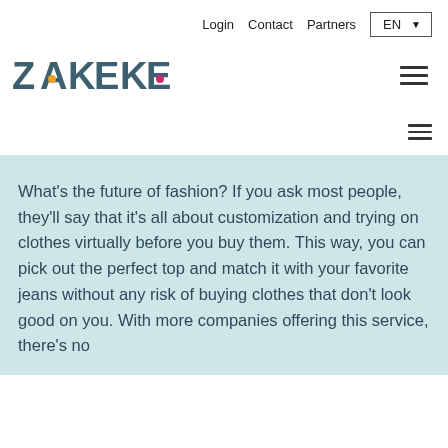Login  Contact  Partners  EN
[Figure (logo): ZAKEKE company logo with colorful dots in place of some letters]
What's the future of fashion? If you ask most people, they'll say that it's all about customization and trying on clothes virtually before you buy them. This way, you can pick out the perfect top and match it with your favorite jeans without any risk of buying clothes that don't look good on you. With more companies offering this service, there's no